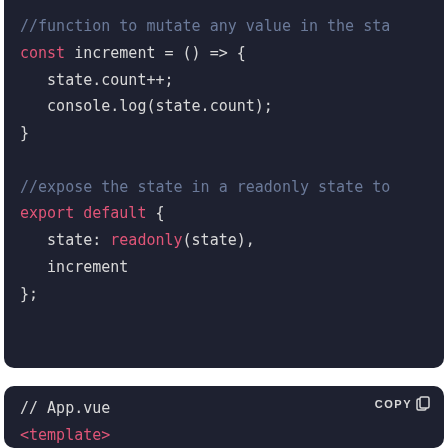[Figure (screenshot): Dark-themed code editor screenshot showing JavaScript code. Top block: comment '//function to mutate any value in the sta', then 'const increment = () => {', '  state.count++;', '  console.log(state.count);', '}', blank line, comment '//expose the state in a readonly state to', 'export default {', '  state: readonly(state),', '  increment', '};'. Bottom block: 'COPY' button with clipboard icon, then '// App.vue' and partial '<template>' tag.]